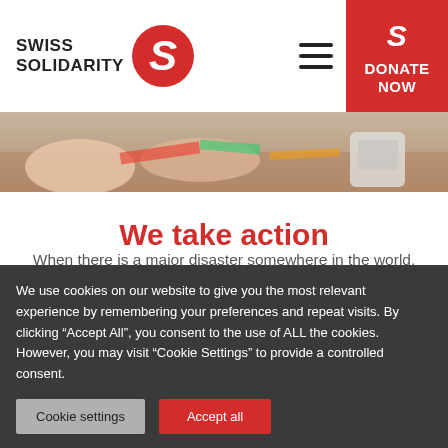[Figure (logo): Swiss Solidarity logo with red S icon and text SWISS SOLIDARITY]
[Figure (photo): Close-up photo of hands and colorful items on a table, partial view]
We take action
When there is a major disaster somewhere in the world, along with our partner SRG we launch fundraising appeals
We use cookies on our website to give you the most relevant experience by remembering your preferences and repeat visits. By clicking “Accept All”, you consent to the use of ALL the cookies. However, you may visit “Cookie Settings” to provide a controlled consent.
Cookie settings | Accept all